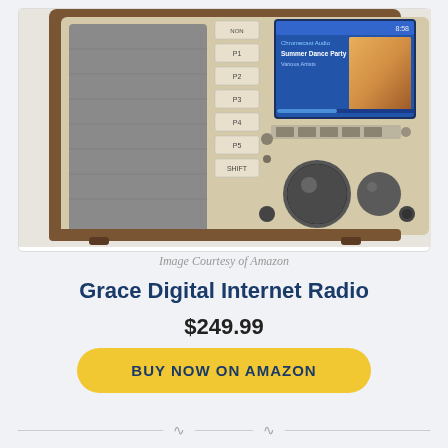[Figure (photo): Grace Digital Internet Radio product photo showing front panel with walnut wood cabinet, fabric speaker grille, control buttons, display screen showing Chromecast Audio Summer Dance Party, large tuning knob]
Image Courtesy of Amazon
Grace Digital Internet Radio
$249.99
BUY NOW ON AMAZON